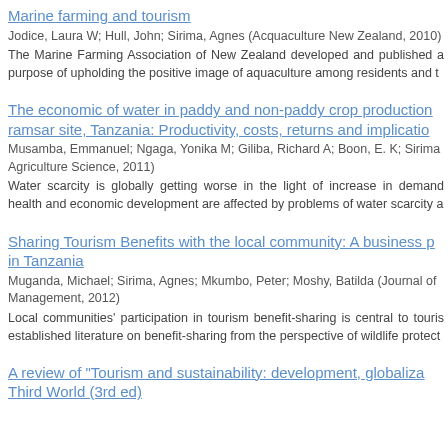Marine farming and tourism
Jodice, Laura W; Hull, John; Sirima, Agnes (Acquaculture New Zealand, 2010)
The Marine Farming Association of New Zealand developed and published a purpose of upholding the positive image of aquaculture among residents and t
The economic of water in paddy and non-paddy crop production ramsar site, Tanzania: Productivity, costs, returns and implicatio
Musamba, Emmanuel; Ngaga, Yonika M; Giliba, Richard A; Boon, E. K; Sirima Agriculture Science, 2011)
Water scarcity is globally getting worse in the light of increase in demand health and economic development are affected by problems of water scarcity a
Sharing Tourism Benefits with the local community: A business p in Tanzania
Muganda, Michael; Sirima, Agnes; Mkumbo, Peter; Moshy, Batilda (Journal of Management, 2012)
Local communities' participation in tourism benefit-sharing is central to touris established literature on benefit-sharing from the perspective of wildlife protect
A review of "Tourism and sustainability: development, globaliza Third World (3rd ed)